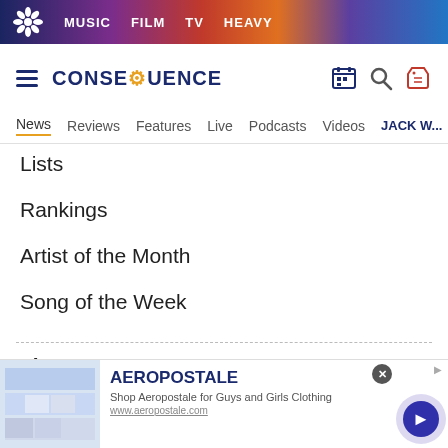MUSIC  FILM  TV  HEAVY
[Figure (logo): Consequence of Sound logo with hamburger menu icon]
News  Reviews  Features  Live  Podcasts  Videos  JACK W...
Lists
Rankings
Artist of the Month
Song of the Week
Live
Concert Tickets
Festival Tickets
[Figure (screenshot): Aeropostale advertisement banner at bottom of page: Shop Aeropostale for Guys and Girls Clothing]